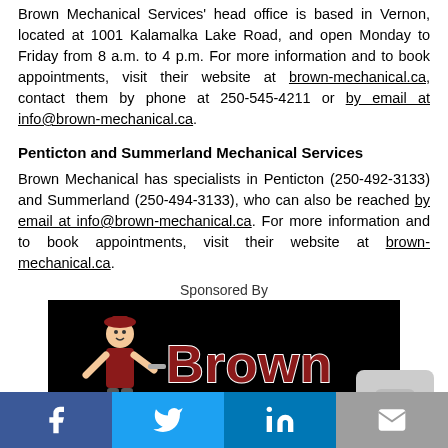Brown Mechanical Services' head office is based in Vernon, located at 1001 Kalamalka Lake Road, and open Monday to Friday from 8 a.m. to 4 p.m. For more information and to book appointments, visit their website at brown-mechanical.ca, contact them by phone at 250-545-4211 or by email at info@brown-mechanical.ca.
Penticton and Summerland Mechanical Services
Brown Mechanical has specialists in Penticton (250-492-3133) and Summerland (250-494-3133), who can also be reached by email at info@brown-mechanical.ca. For more information and to book appointments, visit their website at brown-mechanical.ca.
Sponsored By
[Figure (logo): Brown Mechanical Services Ltd. logo on black background with cartoon mechanic character in red overalls]